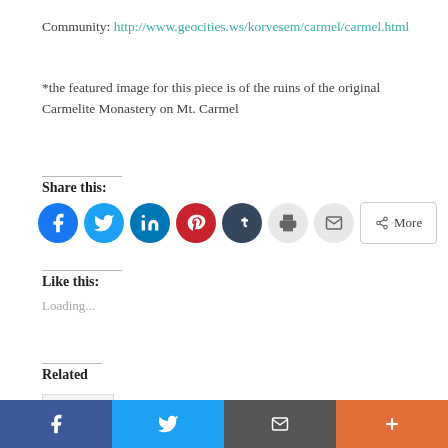Community: http://www.geocities.ws/korvesem/carmel/carmel.html
*the featured image for this piece is of the ruins of the original Carmelite Monastery on Mt. Carmel
Share this:
Like this:
Loading...
Related
One Layer the Diamond